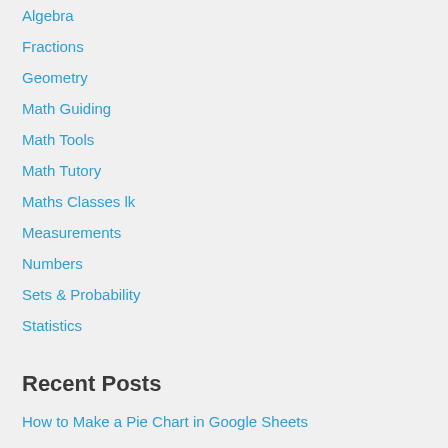Algebra
Fractions
Geometry
Math Guiding
Math Tools
Math Tutory
Maths Classes lk
Measurements
Numbers
Sets & Probability
Statistics
Recent Posts
How to Make a Pie Chart in Google Sheets